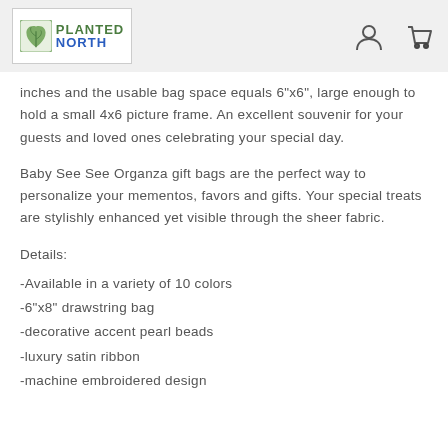PLANTED NORTH
inches and the usable bag space equals 6"x6", large enough to hold a small 4x6 picture frame. An excellent souvenir for your guests and loved ones celebrating your special day.
Baby See See Organza gift bags are the perfect way to personalize your mementos, favors and gifts. Your special treats are stylishly enhanced yet visible through the sheer fabric.
Details:
-Available in a variety of 10 colors
-6"x8" drawstring bag
-decorative accent pearl beads
-luxury satin ribbon
-machine embroidered design